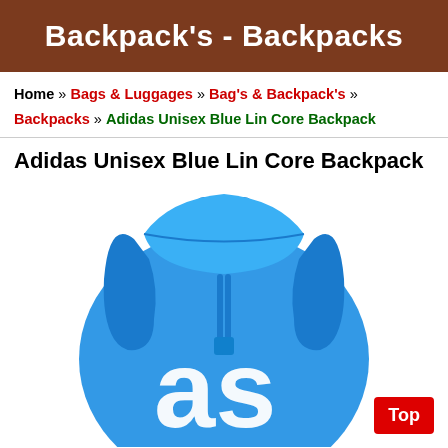Backpack's - Backpacks
Home » Bags & Luggages » Bag's & Backpack's » Backpacks » Adidas Unisex Blue Lin Core Backpack
Adidas Unisex Blue Lin Core Backpack
[Figure (photo): Photo of an Adidas Unisex Blue Lin Core Backpack, shown from the back/top angle. The backpack is blue with white large letters visible on the body, and has blue shoulder straps.]